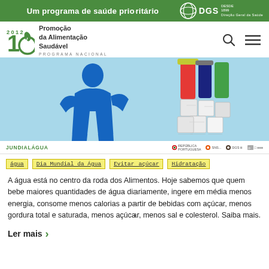Um programa de saúde prioritário — DGS Direção Geral da Saúde
[Figure (logo): Promoção da Alimentação Saudável — Programa Nacional logo with stylized number 10 and leaf]
[Figure (photo): Hero banner showing blue silhouette of person and colorful sugar cubes with drinks on light blue background. JUNDIALÁGUA branding and partner logos visible below.]
água
Dia Mundial da Água
Evitar açúcar
Hidratação
A água está no centro da roda dos Alimentos. Hoje sabemos que quem bebe maiores quantidades de água diariamente, ingere em média menos energia, consome menos calorias a partir de bebidas com açúcar, menos gordura total e saturada, menos açúcar, menos sal e colesterol. Saiba mais.
Ler mais